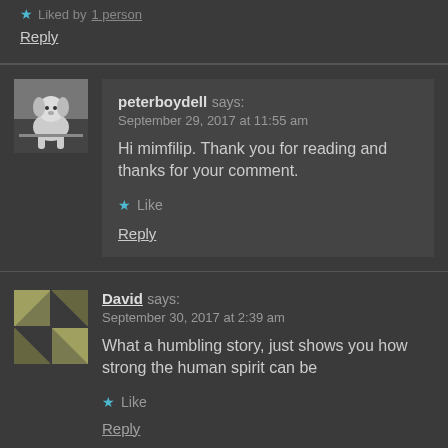★ Liked by 1 person
Reply
peterboydell says: September 29, 2017 at 11:55 am
Hi mimfilip. Thank you for reading and thanks for your comment.
★ Like
Reply
David says: September 30, 2017 at 2:39 am
What a humbling story, just shows you how strong the human spirit can be
★ Like
Reply